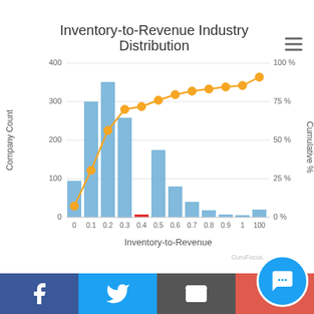[Figure (continuous-plot): Histogram of company count vs inventory-to-revenue ratio with overlaid cumulative percentage line (orange). X-axis: Inventory-to-Revenue (0 to 100). Left Y-axis: Company Count (0 to 400). Right Y-axis: Cumulative % (0% to 100%). Blue bars show distribution peaking around 0.1-0.2. One red bar at ~0.4. Orange dotted cumulative line rises steeply then flattens.]
[Figure (illustration): Social media share bar with Facebook, Twitter, email, and plus buttons. Chat bubble icon bottom right.]